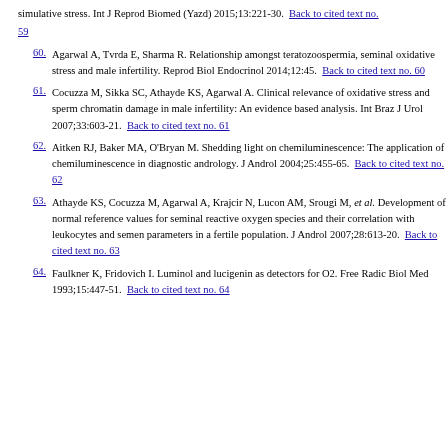simulative stress. Int J Reprod Biomed (Yazd) 2015;13:221-30. Back to cited text no. 59
60. Agarwal A, Tvrda E, Sharma R. Relationship amongst teratozoospermia, seminal oxidative stress and male infertility. Reprod Biol Endocrinol 2014;12:45. Back to cited text no. 60
61. Cocuzza M, Sikka SC, Athayde KS, Agarwal A. Clinical relevance of oxidative stress and sperm chromatin damage in male infertility: An evidence based analysis. Int Braz J Urol 2007;33:603-21. Back to cited text no. 61
62. Aitken RJ, Baker MA, O'Bryan M. Shedding light on chemiluminescence: The application of chemiluminescence in diagnostic andrology. J Androl 2004;25:455-65. Back to cited text no. 62
63. Athayde KS, Cocuzza M, Agarwal A, Krajcir N, Lucon AM, Srougi M, et al. Development of normal reference values for seminal reactive oxygen species and their correlation with leukocytes and semen parameters in a fertile population. J Androl 2007;28:613-20. Back to cited text no. 63
64. Faulkner K, Fridovich I. Luminol and lucigenin as detectors for O2. Free Radic Biol Med 1993;15:447-51. Back to cited text no. 64